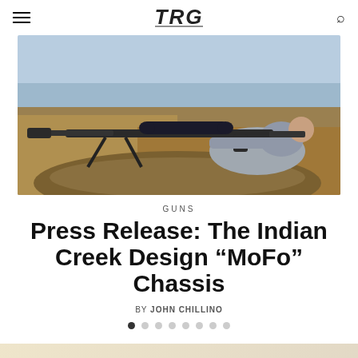TRG (logo)
[Figure (photo): A man with beard lying prone on rocky ground, aiming a large precision rifle with bipod and suppressor, at an outdoor range with dry grass and overcast sky in background.]
GUNS
Press Release: The Indian Creek Design “MoFo” Chassis
BY JOHN CHILLINO